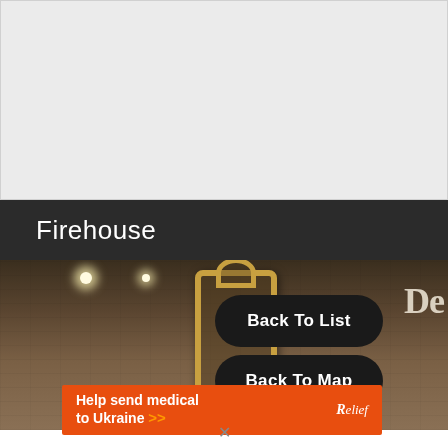[Figure (photo): Gray/white blank area at the top of the page, representing an empty or placeholder image area]
Firehouse
[Figure (photo): Interior restaurant photo showing brick walls, recessed ceiling lights, ornate gold mirror frame, and a partial sign reading 'De' on the right]
Back To List
Back To Map
Help send medical to Ukraine >>
Relief